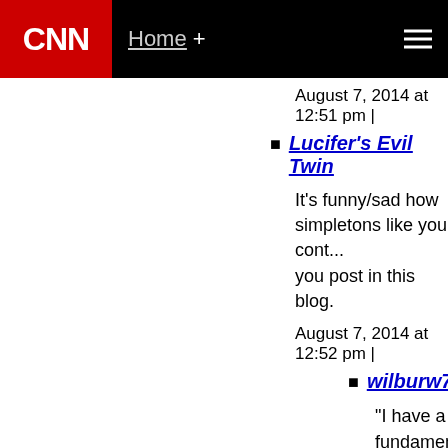CNN Home +
August 7, 2014 at 12:51 pm |
Lucifer's Evil Twin
It's funny/sad how simpletons like you cont... you post in this blog.
August 7, 2014 at 12:52 pm |
wilburw7
"I have a fundamental belief in the Bib... the Bible daily."– Isaac Newton
“I bow before Him who is Lord of all, a... releasing me according to His Divine W...
"The God of the Bible is also the God ... laboratory. By investigating God's maj... worship." Francis S. Collins (Lead gen...
August 7, 2014 at 12:56 pm |